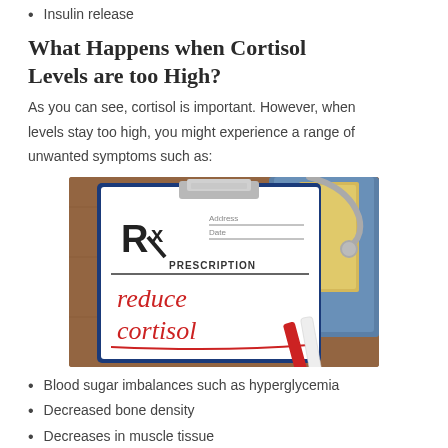Insulin release
What Happens when Cortisol Levels are too High?
As you can see, cortisol is important. However, when levels stay too high, you might experience a range of unwanted symptoms such as:
[Figure (photo): A medical prescription clipboard with 'Rx' symbol showing 'reduce cortisol' written in red marker, with a stethoscope and file folder in the background on a wooden surface.]
Blood sugar imbalances such as hyperglycemia
Decreased bone density
Decreases in muscle tissue